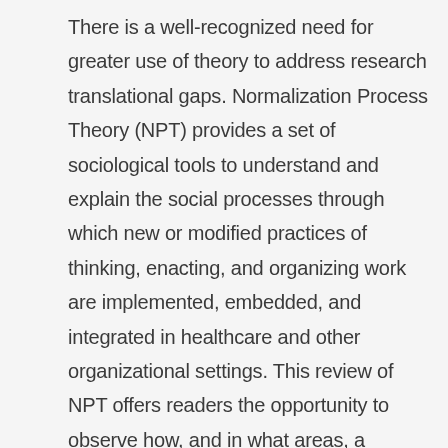There is a well-recognized need for greater use of theory to address research translational gaps. Normalization Process Theory (NPT) provides a set of sociological tools to understand and explain the social processes through which new or modified practices of thinking, enacting, and organizing work are implemented, embedded, and integrated in healthcare and other organizational settings. This review of NPT offers readers the opportunity to observe how, and in what areas, a particular theoretical approach to implementation is being used. In this article we review the literature on NPT in order to understand what interventions NPT is being used to analyze, how NPT is being operationalized, and the reported benefits, if any, of using NPT. METHODS: Using a framework analysis approach, we conducted a qualitative systematic review of empirical literature using NPT. W...